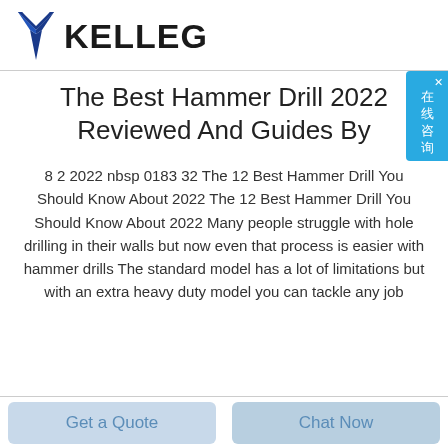KELLEG
The Best Hammer Drill 2022 Reviewed And Guides By
8 2 2022 nbsp 0183 32 The 12 Best Hammer Drill You Should Know About 2022 The 12 Best Hammer Drill You Should Know About 2022 Many people struggle with hole drilling in their walls but now even that process is easier with hammer drills The standard model has a lot of limitations but with an extra heavy duty model you can tackle any job